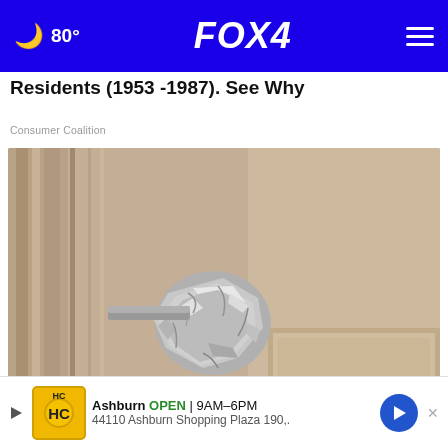🌙 80° | FOX 4
Residents (1953 -1987). See Why
Consumer Coalition
[Figure (photo): Close-up photo of a door knob wrapped in crumpled aluminum foil on a beige/tan interior door]
Wra... ne, Her...
Ashburn OPEN 9AM–6PM 44110 Ashburn Shopping Plaza 190,.